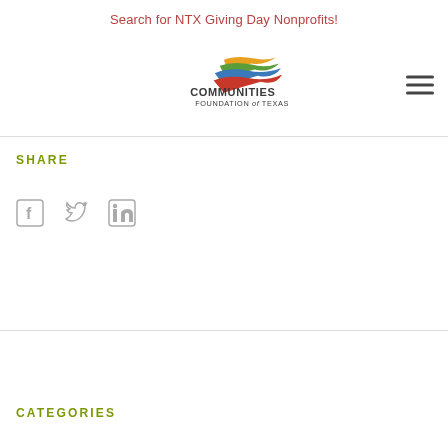Search for NTX Giving Day Nonprofits!
[Figure (logo): Communities Foundation of Texas logo with colorful swoosh/wave mark above the text]
SHARE
[Figure (infographic): Social share icons: Facebook, Twitter, LinkedIn]
CATEGORIES